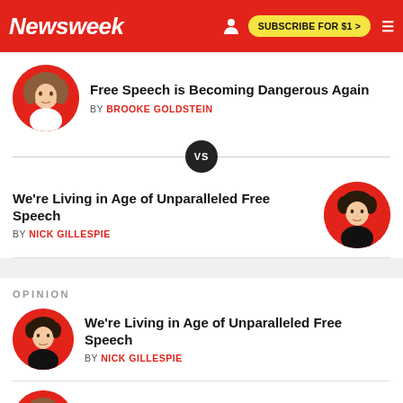Newsweek | SUBSCRIBE FOR $1 >
Free Speech is Becoming Dangerous Again
BY BROOKE GOLDSTEIN
VS
We're Living in Age of Unparalleled Free Speech
BY NICK GILLESPIE
OPINION
We're Living in Age of Unparalleled Free Speech
BY NICK GILLESPIE
Free Speech is Becoming Dangerous Again